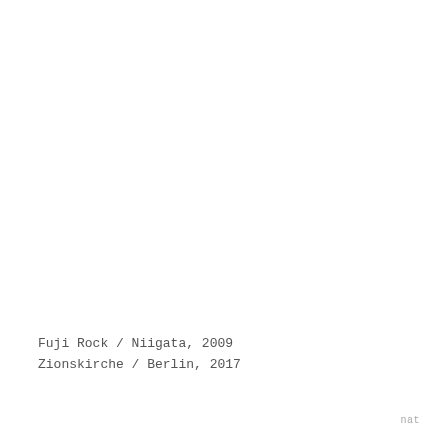Fuji Rock / Niigata, 2009
Zionskirche / Berlin, 2017
nat